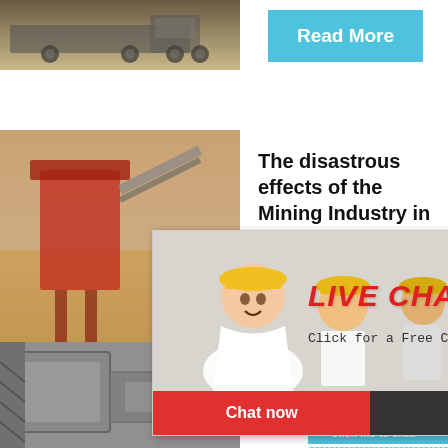[Figure (photo): Industrial truck/machinery photograph in sepia/brown tones]
Read More
[Figure (photo): Red mining/crushing machinery with conveyor at a site with sandy ground]
The disastrous effects of the Mining Industry in Africa
[Figure (photo): Live Chat popup with workers in yellow hard hats. Title: LIVE CHAT, subtitle: Click for a Free Consultation. Buttons: Chat now, Chat later]
[Figure (photo): Right sidebar: hour online banner, crusher machine image, Click me to chat>>, Enquiry, limingjlmofen]
[Figure (photo): Impact crusher or similar heavy machinery, grey tones]
The dir... impact...
2018-10-